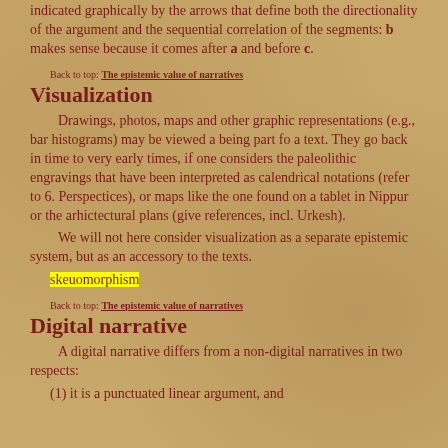indicated graphically by the arrows that define both the directionality of the argument and the sequential correlation of the segments: b makes sense because it comes after a and before c.
Back to top: The epistemic value of narratives
Visualization
Drawings, photos, maps and other graphic representations (e.g., bar histograms) may be viewed a being part fo a text. They go back in time to very early times, if one considers the paleolithic engravings that have been interpreted as calendrical notations (refer to 6. Perspectices), or maps like the one found on a tablet in Nippur or the arhictectural plans (give references, incl. Urkesh).
    We will not here consider visualization as a separate epistemic system, but as an accessory to the texts.
    skeuomorphism
Back to top: The epistemic value of narratives
Digital narrative
A digital narrative differs from a non-digital narratives in two respects:
    (1) it is a punctuated linear argument, and